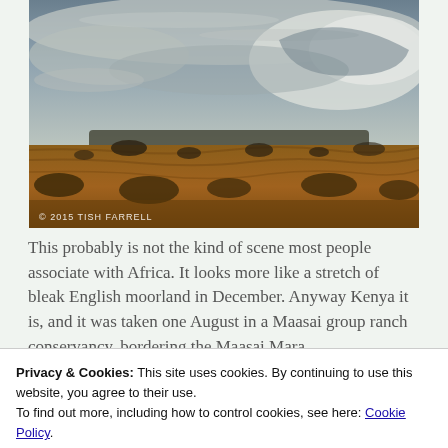[Figure (photo): A wide landscape photograph of African savanna under a dramatic stormy sky. Golden-brown grasses and scattered low trees or shrubs fill the foreground. A dark flat-topped hill sits on the horizon. The sky is filled with grey and white storm clouds with wispy formations. A copyright watermark reads '© 2015 TISH FARRELL' in the lower-left corner.]
This probably is not the kind of scene most people associate with Africa. It looks more like a stretch of bleak English moorland in December. Anyway Kenya it is, and it was taken one August in a Maasai group ranch conservancy, bordering the Maasai Mara
Privacy & Cookies: This site uses cookies. By continuing to use this website, you agree to their use.
To find out more, including how to control cookies, see here: Cookie Policy
Close and accept
vertically – from the hot and arid Northern District,